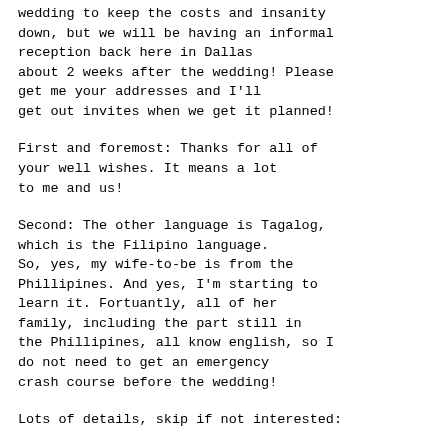wedding to keep the costs and insanity down, but we will be having an informal reception back here in Dallas about 2 weeks after the wedding!  Please get me your addresses and I'll get out invites when we get it planned!
First and foremost:  Thanks for all of your well wishes.  It means a lot to me and us!
Second:  The other language is Tagalog, which is the Filipino language. So, yes, my wife-to-be is from the Phillipines.  And yes, I'm starting to learn it.  Fortuantly, all of her family, including the part still in the Phillipines, all know english, so I do not need to get an emergency crash course before the wedding!
Lots of details, skip if not interested: